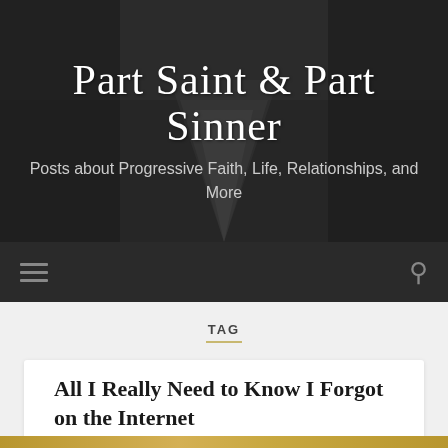Part Saint & Part Sinner
Posts about Progressive Faith, Life, Relationships, and More
TAG politics
TAG
politics
All I Really Need to Know I Forgot on the Internet